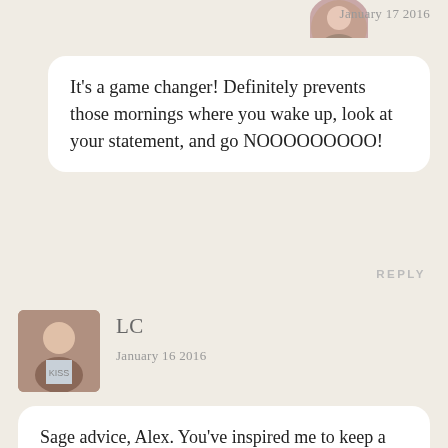[Figure (photo): Partial avatar image at top, cropped circle showing person]
January 17 2016
It's a game changer! Definitely prevents those mornings where you wake up, look at your statement, and go NOOOOOOOOO!
REPLY
[Figure (photo): Square avatar photo of young woman with dark hair]
LC
January 16 2016
Sage advice, Alex. You've inspired me to keep a better track of my finances (which aren't awful, but the spending can get a bit out of hand!). Hip hip hooray for slow travel! It's the way to do it, for sure.